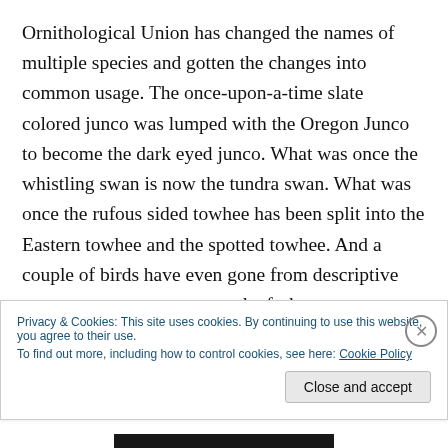Ornithological Union has changed the names of multiple species and gotten the changes into common usage. The once-upon-a-time slate colored junco was lumped with the Oregon Junco to become the dark eyed junco. What was once the whistling swan is now the tundra swan. What was once the rufous sided towhee has been split into the Eastern towhee and the spotted towhee. And a couple of birds have even gone from descriptive names to eponymous ones: the fork-
Privacy & Cookies: This site uses cookies. By continuing to use this website, you agree to their use.
To find out more, including how to control cookies, see here: Cookie Policy
Close and accept